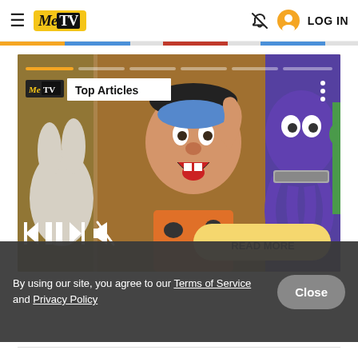MeTV — LOG IN
[Figure (screenshot): MeTV website screenshot showing a cartoon image carousel with Top Articles label, playback controls, and a READ MORE button. Characters from The Flintstones and other cartoons are visible.]
By using our site, you agree to our Terms of Service and Privacy Policy
Close